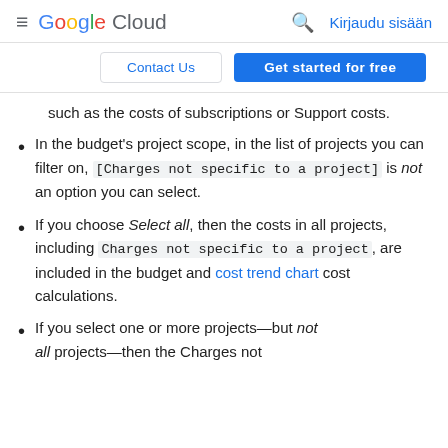≡ Google Cloud  🔍  Kirjaudu sisään
Contact Us  |  Get started for free
such as the costs of subscriptions or Support costs.
In the budget's project scope, in the list of projects you can filter on, [Charges not specific to a project] is not an option you can select.
If you choose Select all, then the costs in all projects, including Charges not specific to a project, are included in the budget and cost trend chart cost calculations.
If you select one or more projects—but not all projects—then the Charges not